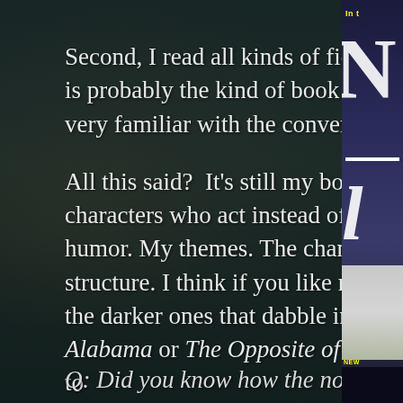Second, I read all kinds of fiction, and I love suspense. It is probably the kind of book I read most, so I was already very familiar with the conventions of the genre.
All this said?  It's still my book. My kind of fierce, female characters who act instead of reacting. My weird sense of humor. My themes. The changes are mostly in terms of structure. I think if you like my other books, especially the darker ones that dabble in murder, like gods in Alabama or The Opposite of Everyone, then you are going to
Q: Did you know how the novel would end before
[Figure (illustration): Partial view of a book cover on the right side, showing fragments of white text/letters (N, I) on dark blue background, with a house image in the lower portion and a NEW badge label.]